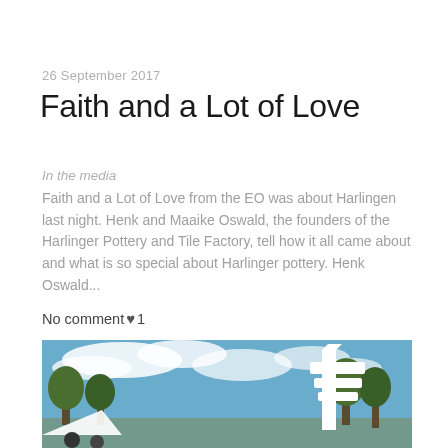26 September 2017
Faith and a Lot of Love
In the media
Faith and a Lot of Love from the EO was about Harlingen last night. Henk and Maaike Oswald, the founders of the Harlinger Pottery and Tile Factory, tell how it all came about and what is so special about Harlinger pottery. Henk Oswald...
No comment ♥ 1
[Figure (photo): Outdoor scene with blue sky and white clouds, trees, and a distinctive white architectural structure or sign on the right side.]